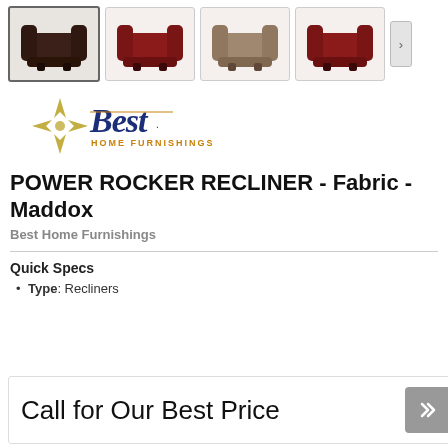[Figure (photo): Row of four thumbnail images of a power rocker recliner in different colors: dark brown/black, red, taupe/beige, red. Navigation arrow on right side.]
[Figure (logo): Best Home Furnishings logo with star/compass rose graphic and blue italic 'Best' wordmark with orange 'HOME FURNISHINGS' tagline.]
POWER ROCKER RECLINER - Fabric - Maddox
Best Home Furnishings
Quick Specs
Type: Recliners
Call for Our Best Price